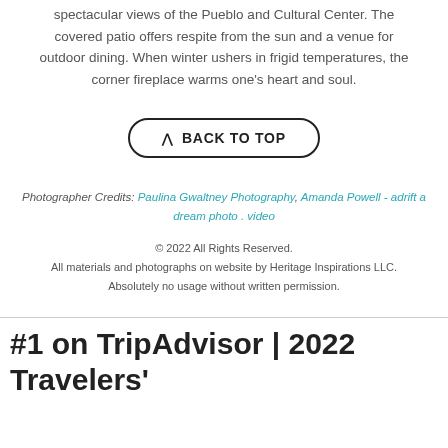spectacular views of the Pueblo and Cultural Center. The covered patio offers respite from the sun and a venue for outdoor dining. When winter ushers in frigid temperatures, the corner fireplace warms one's heart and soul.
^ BACK TO TOP
Photographer Credits: Paulina Gwaltney Photography, Amanda Powell - adrift a dream photo . video
© 2022 All Rights Reserved.
All materials and photographs on website by Heritage Inspirations LLC.
Absolutely no usage without written permission.
#1 on TripAdvisor | 2022 Travelers'